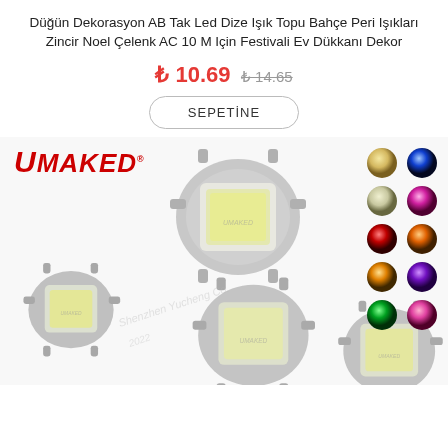Düğün Dekorasyon AB Tak Led Dize Işık Topu Bahçe Peri Işıkları Zincir Noel Çelenk AC 10 M Için Festivali Ev Dükkanı Dekor
₺ 10.69  ₺ 14.65
SEPETİNE
[Figure (photo): Product listing page showing LED chip modules with UMAKED logo and color swatches. Multiple silver LED COB chips are displayed along with a grid of color options: warm white, blue, cool white, pink/magenta, red, orange, amber/orange, purple, green, pink.]